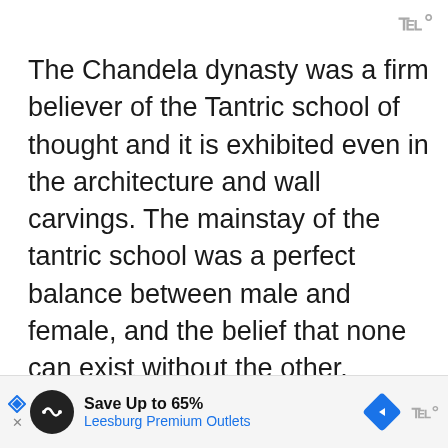www°
The Chandela dynasty was a firm believer of the Tantric school of thought and it is exhibited even in the architecture and wall carvings. The mainstay of the tantric school was a perfect balance between male and female, and the belief that none can exist without the other.

The temple exemplifies the union of man and woman apart from this the
[Figure (other): Advertisement banner: Save Up to 65% - Leesburg Premium Outlets, with navigation arrow icon and logo]